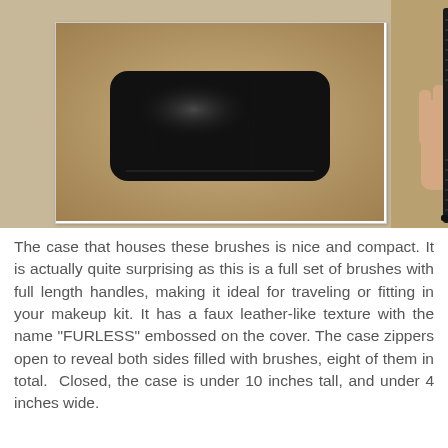[Figure (photo): Two photos of a black faux leather brush case. Left photo shows the closed case lying flat from above — a rectangular black case with rounded corners and a shiny surface. Right photo shows the case held from the side, showing its slim profile and zipper along the edge.]
The case that houses these brushes is nice and compact. It is actually quite surprising as this is a full set of brushes with full length handles, making it ideal for traveling or fitting in your makeup kit. It has a faux leather-like texture with the name "FURLESS" embossed on the cover. The case zippers open to reveal both sides filled with brushes, eight of them in total. Closed, the case is under 10 inches tall, and under 4 inches wide.